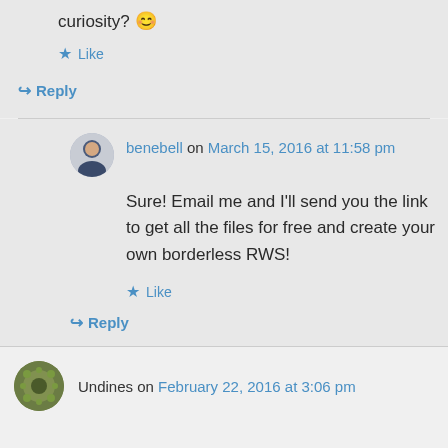curiosity? 😊
★ Like
↪ Reply
benebell on March 15, 2016 at 11:58 pm
Sure! Email me and I'll send you the link to get all the files for free and create your own borderless RWS!
★ Like
↪ Reply
Undines on February 22, 2016 at 3:06 pm